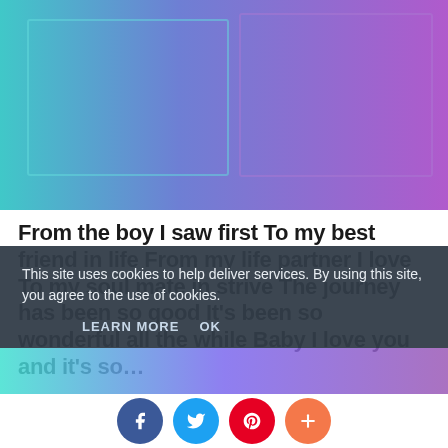[Figure (illustration): Gradient hero image with teal-to-purple gradient, containing a decorative framed rectangle outline]
From the boy I saw first To my best friend in life From my life partner I love To my soul mate in strive The journey has been so good It's been so wonderful all the while Baby I love you and it's so…
This site uses cookies to help deliver services. By using this site, you agree to the use of cookies.
LEARN MORE   OK
[Figure (illustration): Bottom strip with teal-to-purple gradient]
[Figure (infographic): Social share buttons: Facebook (blue), Twitter (light blue), Pinterest (red), Plus/more (orange)]